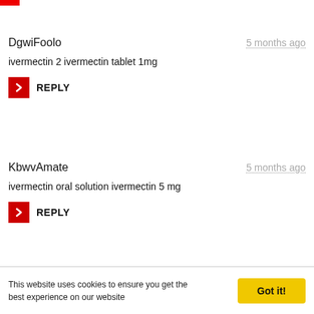[Figure (other): Partial red rectangle at top-left corner (clipped UI element)]
DgwiFoolo
5 months ago
ivermectin 2 ivermectin tablet 1mg
REPLY
KbwvAmate
5 months ago
ivermectin oral solution ivermectin 5 mg
REPLY
CehhQualo
5 months ago
ivermectin tablet 1mg ivermectin 200mg
This website uses cookies to ensure you get the best experience on our website